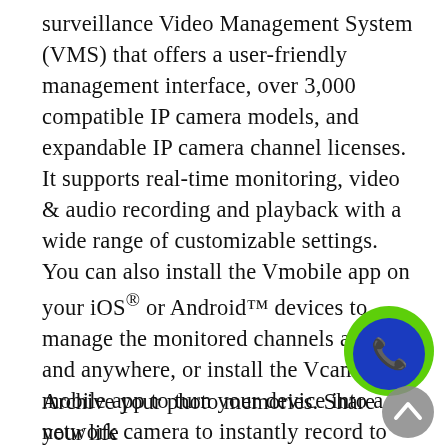surveillance Video Management System (VMS) that offers a user-friendly management interface, over 3,000 compatible IP camera models, and expandable IP camera channel licenses. It supports real-time monitoring, video & audio recording and playback with a wide range of customizable settings. You can also install the Vmobile app on your iOS® or Android™ devices to manage the monitored channels anytime and anywhere, or install the Vcam mobile app to turn your device into a network camera to instantly record to your TS-431P. The TS-431P offers 2 free IP camera channels and you can expand up to 25 channels by purchasing additional licenses.
Archive your photo memories. Share your life
[Figure (other): Green and blue circular phone call button overlay in the bottom-right corner, with a scroll-to-top arrow button below it]